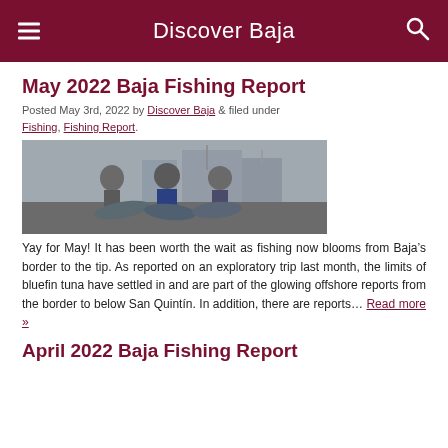Discover Baja
May 2022 Baja Fishing Report
Posted May 3rd, 2022 by Discover Baja & filed under Fishing, Fishing Report.
[Figure (photo): Three men crouching on a dock holding large bluefin tuna, with boats and a marina in the background.]
Yay for May! It has been worth the wait as fishing now blooms from Baja’s border to the tip. As reported on an exploratory trip last month, the limits of bluefin tuna have settled in and are part of the glowing offshore reports from the border to below San Quintín. In addition, there are reports… Read more »
April 2022 Baja Fishing Report